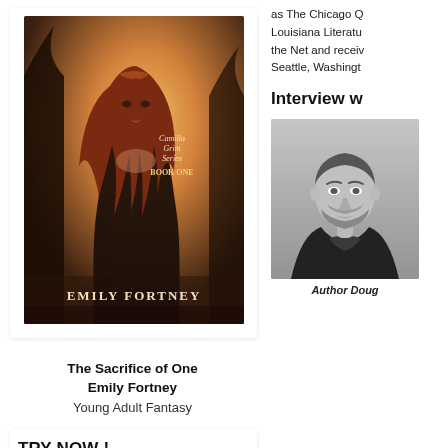[Figure (illustration): Book cover for 'The Sacrifice of One' by Emily Fortney, Camilla Grim Series Book One. Shows a red-haired woman in golden light with trees in background.]
The Sacrifice of One
Emily Fortney
Young Adult Fantasy
TRY NOW !
[Figure (illustration): Amazon Music promotional banner showing '3 MONTHS' offer on a magenta/pink gradient background with Amazon Music logo and arrow smile icon.]
as The Chicago Q... Louisiana Literatu... the Net and receiv... Seattle, Washingt...
Interview w...
[Figure (photo): Black and white photo of Author Doug, a man with short hair and beard wearing a dark jacket.]
Author Doug...